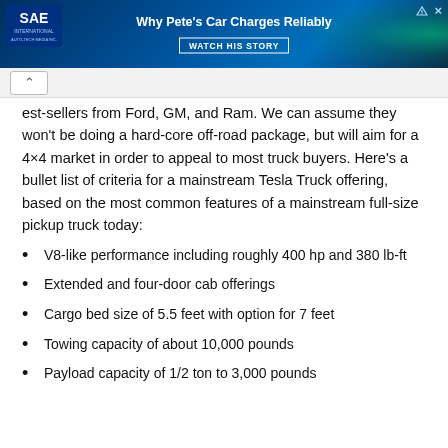[Figure (screenshot): SAE International advertisement banner with dark blue background and car charging image. Text reads 'Why Pete's Car Charges Reliably' with a 'WATCH HIS STORY' button.]
est-sellers from Ford, GM, and Ram. We can assume they won't be doing a hard-core off-road package, but will aim for a 4×4 market in order to appeal to most truck buyers. Here's a bullet list of criteria for a mainstream Tesla Truck offering, based on the most common features of a mainstream full-size pickup truck today:
V8-like performance including roughly 400 hp and 380 lb-ft
Extended and four-door cab offerings
Cargo bed size of 5.5 feet with option for 7 feet
Towing capacity of about 10,000 pounds
Payload capacity of 1/2 ton to 3,000 pounds